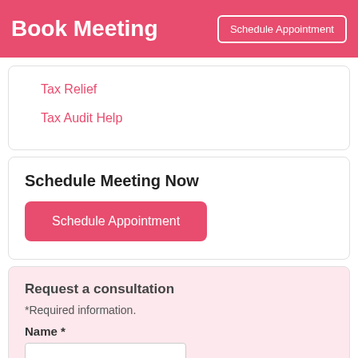Book Meeting
Schedule Appointment
Tax Relief
Tax Audit Help
Schedule Meeting Now
Schedule Appointment
Request a consultation
*Required information.
Name *